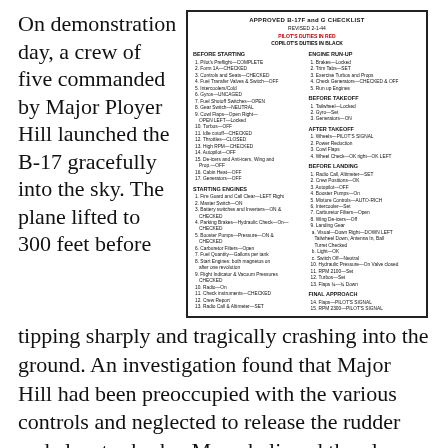On demonstration day, a crew of five commanded by Major Ployer Hill launched the B-17 gracefully into the sky. The plane lifted to 300 feet before tipping sharply and tragically crashing into the ground. An investigation found that Major Hill had been preoccupied with the various controls and neglected to release the rudder and elevator brake. Many believed the plane was just "too
[Figure (other): APPROVED B-17F and G CHECKLIST dated REVISED 2-1-44. Pilot's duties in red, Copilot's duties in black. A two-column pre-flight and operational checklist for the B-17 bomber including sections: Before Starting, Starting Engines, Engine Run-Up, Before Takeoff, After Takeoff, Before Landing, Final Approach.]